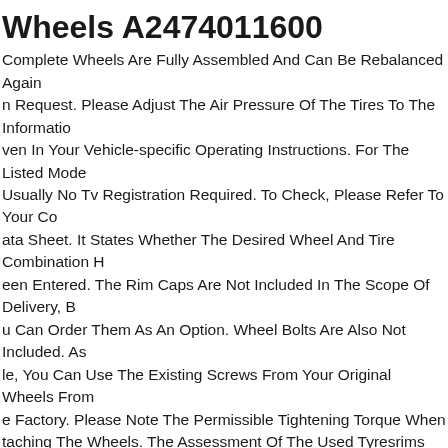Wheels A2474011600
Complete Wheels Are Fully Assembled And Can Be Rebalanced Again n Request. Please Adjust The Air Pressure Of The Tires To The Informatio ven In Your Vehicle-specific Operating Instructions. For The Listed Mode Usually No Tv Registration Required. To Check, Please Refer To Your Co ata Sheet. It States Whether The Desired Wheel And Tire Combination H een Entered. The Rim Caps Are Not Included In The Scope Of Delivery, B u Can Order Them As An Option. Wheel Bolts Are Also Not Included. As le, You Can Use The Existing Screws From Your Original Wheels From e Factory. Please Note The Permissible Tightening Torque When taching The Wheels. The Assessment Of The Used Tyresrims Does Not efer To The Quality Of The New Tyres, But Is Based On Used-specific andards.
ercedes Benz 20 Inch Rims Glc C253 Coupe Glc43 Amg Complete Winte heels. Condition The Item Is In Very Good Condition, The Rims May ccasionally Show Minimal Signs Of Use. Two Rims Have Been Prepared, ee Photos. Tire Manufacturer Dunlop Winter Sport 5 Suv Winter Tires Mo
9 Inch Mercedes Gla 35 45 S